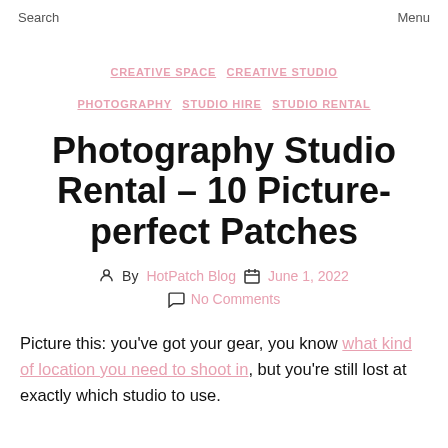Search   Menu
CREATIVE SPACE  CREATIVE STUDIO  PHOTOGRAPHY  STUDIO HIRE  STUDIO RENTAL
Photography Studio Rental – 10 Picture-perfect Patches
By HotPatch Blog   June 1, 2022   No Comments
Picture this: you've got your gear, you know what kind of location you need to shoot in, but you're still lost at exactly which studio to use.